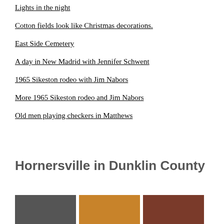Lights in the night
Cotton fields look like Christmas decorations.
East Side Cemetery
A day in New Madrid with Jennifer Schwent
1965 Sikeston rodeo with Jim Nabors
More 1965 Sikeston rodeo and Jim Nabors
Old men playing checkers in Matthews
Hornersville in Dunklin County
[Figure (photo): Three partially visible images of photos at the bottom of the page]